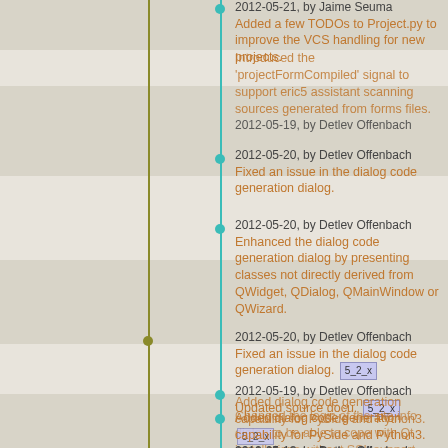2012-05-21, by Jaime Seuma
Added a few TODOs to Project.py to improve the VCS handling for new projects.
2012-05-20, by Detlev Offenbach
Fixed an issue in the dialog code generation dialog.
2012-05-20, by Detlev Offenbach
Enhanced the dialog code generation dialog by presenting classes not directly derived from QWidget, QDialog, QMainWindow or QWizard.
2012-05-20, by Detlev Offenbach
Fixed an issue in the dialog code generation dialog. [5_2_x]
2012-05-20, by Detlev Offenbach
Updated source docu. [5_2_x]
2012-05-19, by Detlev Offenbach
Introduced the 'projectFormCompiled' signal to support eric5 assistant scanning sources generated from forms files.
2012-05-19, by Detlev Offenbach
Updated source docu. [5_2_x]
2012-05-19, by Detlev Offenbach
Introduced the 'projectFormCompiled' signal to support eric5 assistant scanning sources generated from forms files.
2012-05-19, by Detlev Offenbach
Added dialog code generation capability for PySide and Python3. [5_2_x]
2012-05-18, by Detlev Offenbach
Added dialog code generation capability for PySide and Python3.
2012-05-18, by Detlev Offenbach
Changed the logic of the site info dialog to be able to cope with Qt installations without SSL support.